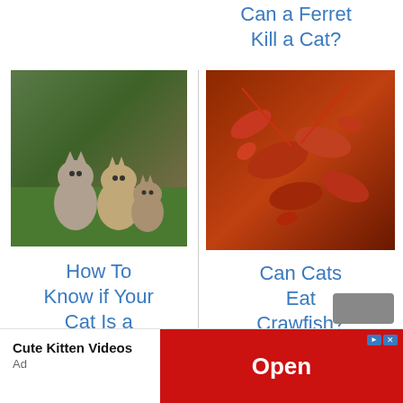Can a Ferret Kill a Cat?
[Figure (photo): Three kittens sitting on grass]
How To Know if Your Cat Is a Runt?
[Figure (photo): Crawfish/lobsters piled together]
Can Cats Eat Crawfish?
[Figure (photo): Cat eating from a red bowl]
Can Cats Eat Rabbit Food?
Cute Kitten Videos
Ad
Open